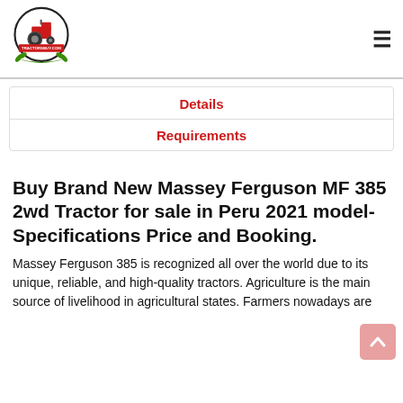[Figure (logo): TractorsBuy.com logo with red tractor inside a circle and green banner]
≡
Details
Requirements
Buy Brand New Massey Ferguson MF 385 2wd Tractor for sale in Peru 2021 model-Specifications Price and Booking.
Massey Ferguson 385 is recognized all over the world due to its unique, reliable, and high-quality tractors. Agriculture is the main source of livelihood in agricultural states. Farmers nowadays are